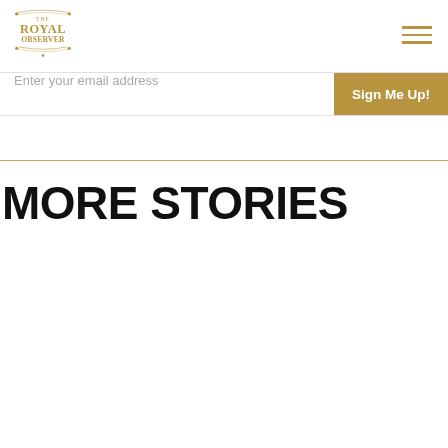The Royal Observer
Enter your email address
Sign Me Up!
MORE STORIES